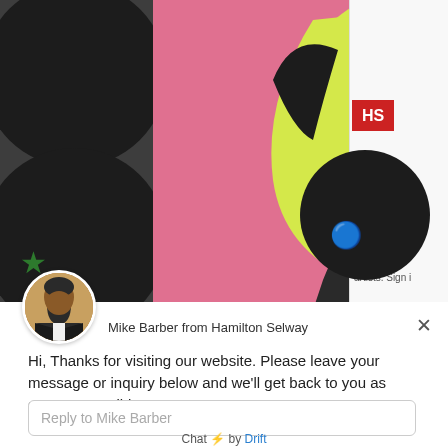[Figure (screenshot): Screenshot of a website showing a pop art (Warhol-style) image of a dog with yellow-green and pink colors on a pink background, partially obscured by a live chat popup from Hamilton Selway gallery. Right side shows partial website UI with 'HS' logo badge and 'Join' text.]
Mike Barber from Hamilton Selway
Hi, Thanks for visiting our website. Please leave your message or inquiry below and we'll get back to you as soon as possible.
Reply to Mike Barber
Chat ⚡ by Drift